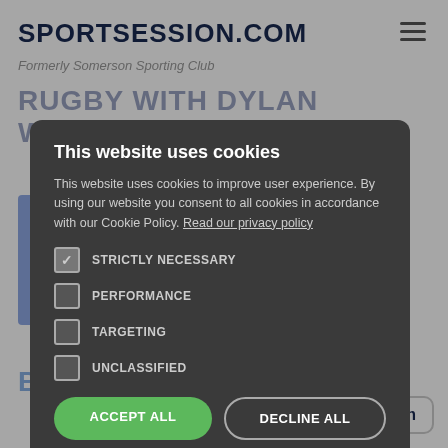SPORTSESSION.COM
Formerly Somerson Sporting Club
RUGBY WITH DYLAN WILSON
Peffermill Playing Fields, The University of Edinburgh, Peffermill Road, Edinburgh, UK
[Figure (screenshot): Cookie consent modal dialog on sportsession.com website with options for Strictly Necessary, Performance, Targeting, and Unclassified cookies, with Accept All and Decline All buttons.]
This website uses cookies
This website uses cookies to improve user experience. By using our website you consent to all cookies in accordance with our Cookie Policy. Read our privacy policy
STRICTLY NECESSARY (checked)
PERFORMANCE
TARGETING
UNCLASSIFIED
ACCEPT ALL
DECLINE ALL
SHOW DETAILS
POWERED BY COOKIESCRIPT
Talk to Dylan